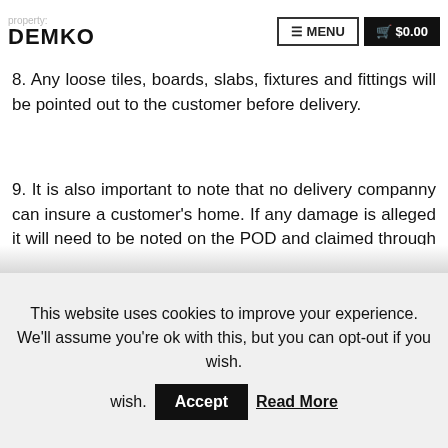property: DEMKO | MENU | $0.00
8. Any loose tiles, boards, slabs, fixtures and fittings will be pointed out to the customer before delivery.
9. It is also important to note that no delivery companny can insure a customer's home. If any damage is alleged it will need to be noted on the POD and claimed through the householder's insurance who will look to mitigate any costs against our public liability policy should we be judged to be at fault.
This website uses cookies to improve your experience. We'll assume you're ok with this, but you can opt-out if you wish. Accept Read More